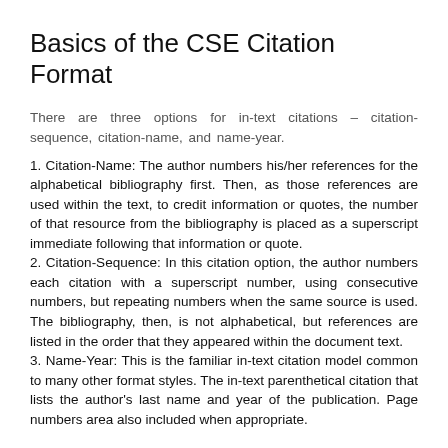Basics of the CSE Citation Format
There are three options for in-text citations – citation-sequence, citation-name, and name-year.
1. Citation-Name: The author numbers his/her references for the alphabetical bibliography first. Then, as those references are used within the text, to credit information or quotes, the number of that resource from the bibliography is placed as a superscript immediate following that information or quote.
2. Citation-Sequence: In this citation option, the author numbers each citation with a superscript number, using consecutive numbers, but repeating numbers when the same source is used. The bibliography, then, is not alphabetical, but references are listed in the order that they appeared within the document text.
3. Name-Year: This is the familiar in-text citation model common to many other format styles. The in-text parenthetical citation that lists the author's last name and year of the publication. Page numbers area also included when appropriate.